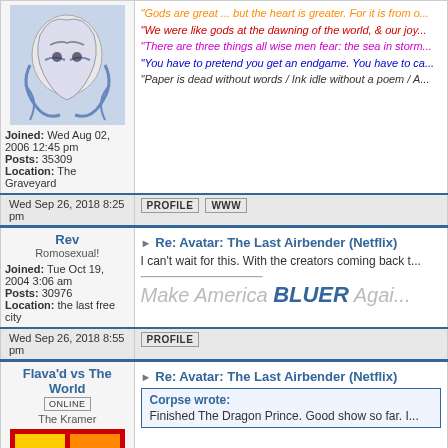[Figure (illustration): Comic book style illustration of a muscular figure with blue and white ink drawing]
"Gods are great ... but the heart is greater. For it is from o..."
"We were like gods at the dawning of the world, & our joy..."
"There are three things all wise men fear: the sea in storm..."
"You have to pretend you get an endgame. You have to ca..."
"Paper is dead without words / Ink idle without a poem / A..."
Joined: Wed Aug 02, 2006 12:45 pm
Posts: 35309
Location: The Graveyard
Wed Sep 26, 2018 8:25 pm
PROFILE  WWW
Rev
Romosexual!
Joined: Tue Oct 19, 2004 3:06 am
Posts: 30976
Location: the last free city
Re: Avatar: The Last Airbender (Netflix)
I can't wait for this. With the creators coming back t...
Make America BLUER Agai...
Wed Sep 26, 2018 8:55 pm
PROFILE
Flava'd vs The World
ONLINE
The Kramer
Re: Avatar: The Last Airbender (Netflix)
Corpse wrote:
Finished The Dragon Prince. Good show so far. I...